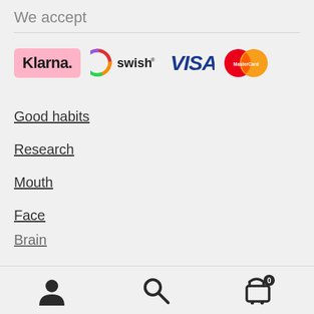We accept
[Figure (logo): Payment method logos: Klarna (pink background, bold black text), Swish (rainbow circle icon with 'swish' text), VISA (blue bold letters), MasterCard (overlapping red and orange circles with white MasterCard text)]
Good habits
Research
Mouth
Face
Brain
[Figure (screenshot): Bottom navigation bar with three icons: user/account icon, search icon, and shopping cart icon with badge showing 0]